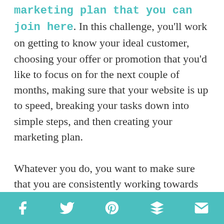marketing plan that you can join here. In this challenge, you'll work on getting to know your ideal customer, choosing your offer or promotion that you'd like to focus on for the next couple of months, making sure that your website is up to speed, breaking your tasks down into simple steps, and then creating your marketing plan.

Whatever you do, you want to make sure that you are consistently working towards bringing people back to your website. I like
[Figure (infographic): Social sharing bar with icons for Facebook, Twitter, Pinterest, Buffer/layers, and email on a teal background]